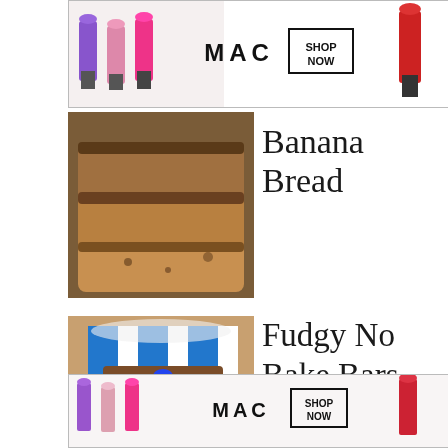[Figure (photo): MAC cosmetics advertisement banner showing lipsticks in purple, pink, red with MAC logo and SHOP NOW button]
[Figure (photo): Sliced banana bread loaves stacked close-up]
Banana Bread
[Figure (photo): Fudgy no bake bars on blue and white striped surface with colorful candy toppings]
Fudgy No Bake Bars
[Figure (photo): MAC cosmetics advertisement banner at bottom with CLOSE button, lipsticks and SHOP NOW]